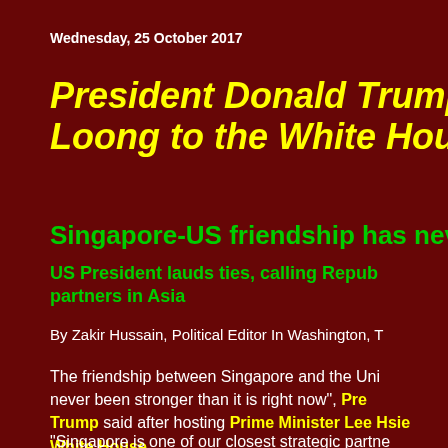Wednesday, 25 October 2017
President Donald Trump w... Loong to the White House...
Singapore-US friendship has nev...
US President lauds ties, calling Repub... partners in Asia
By Zakir Hussain, Political Editor In Washington, T...
The friendship between Singapore and the Uni... never been stronger than it is right now", Pre... Trump said after hosting Prime Minister Lee Hsie... White House.
"Singapore is one of our closest strategic partne... said after a four-eye meeting with PM Lee and a...